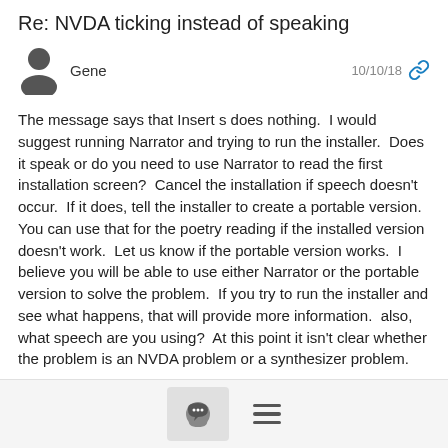Re: NVDA ticking instead of speaking
Gene  10/10/18
The message says that Insert s does nothing.  I would suggest running Narrator and trying to run the installer.  Does it speak or do you need to use Narrator to read the first installation screen?  Cancel the installation if speech doesn't occur.  If it does, tell the installer to create a portable version. You can use that for the poetry reading if the installed version doesn't work.  Let us know if the portable version works.  I believe you will be able to use either Narrator or the portable version to solve the problem.  If you try to run the installer and see what happens, that will provide more information.  also, what speech are you using?  At this point it isn't clear whether the problem is an NVDA problem or a synthesizer problem.
Gene